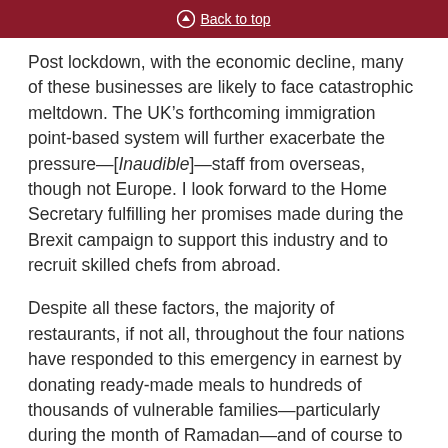Back to top
Post lockdown, with the economic decline, many of these businesses are likely to face catastrophic meltdown. The UK’s forthcoming immigration point-based system will further exacerbate the pressure—[Inaudible]—staff from overseas, though not Europe. I look forward to the Home Secretary fulfilling her promises made during the Brexit campaign to support this industry and to recruit skilled chefs from abroad.
Despite all these factors, the majority of restaurants, if not all, throughout the four nations have responded to this emergency in earnest by donating ready-made meals to hundreds of thousands of vulnerable families—particularly during the month of Ramadan—and of course to